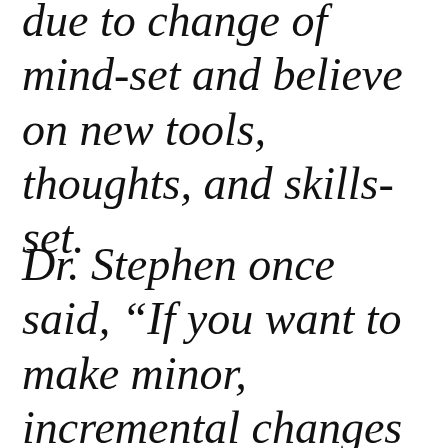due to change of mind-set and believe on new tools, thoughts, and skills-set.
Dr. Stephen once said, “If you want to make minor, incremental changes and improvements, work on practices,